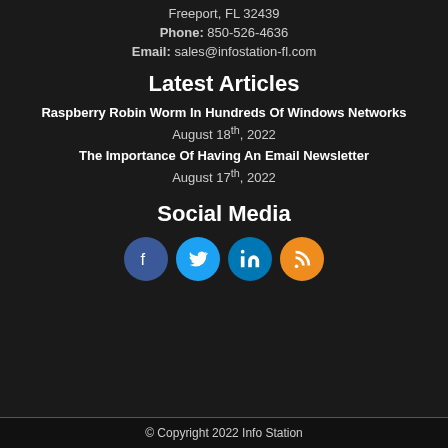Freeport, FL 32439
Phone: 850-526-4636
Email: sales@infostation-fl.com
Latest Articles
Raspberry Robin Worm In Hundreds Of Windows Networks
August 18th, 2022
The Importance Of Having An Email Newsletter
August 17th, 2022
Social Media
[Figure (illustration): Four social media icons in circles: Facebook, Twitter, LinkedIn, RSS]
© Copyright 2022 Info Station